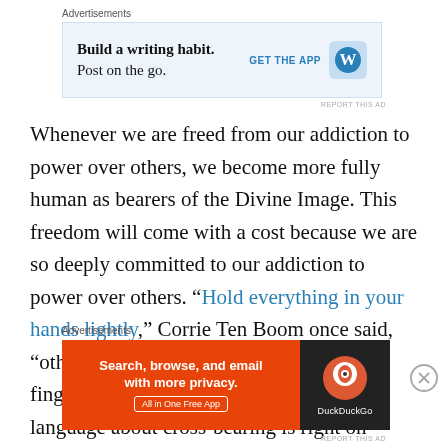Advertisements
[Figure (screenshot): WordPress mobile app advertisement: 'Build a writing habit. Post on the go.' with GET THE APP button and WordPress logo on light blue background]
Whenever we are freed from our addiction to power over others, we become more fully human as bearers of the Divine Image. This freedom will come with a cost because we are so deeply committed to our addiction to power over others. “Hold everything in your hands lightly,” Corrie Ten Boom once said, “otherwise it hurts when God pries your fingers open.” From this perspective, the language about cross-bearing is right on
Advertisements
[Figure (screenshot): DuckDuckGo advertisement: 'Search, browse, and email with more privacy. All in One Free App' on orange background with DuckDuckGo logo on dark background]